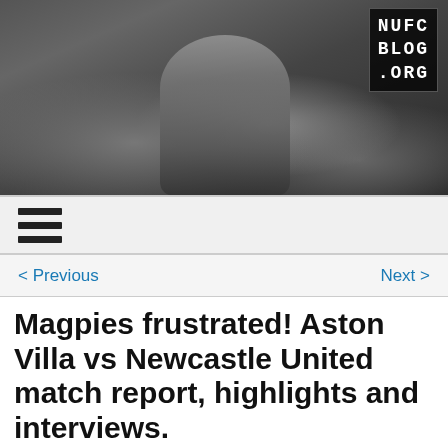[Figure (photo): NUFC Blog banner showing passionate Newcastle United fan with fists raised among crowd, black and white scarves visible. NUFC BLOG .ORG logo in top right corner.]
[Figure (other): Navigation hamburger menu icon (three horizontal bars) on light grey background]
< Previous    Next >
Magpies frustrated! Aston Villa vs Newcastle United match report, highlights and interviews.
Posted on September 17th, 2011 | 23 Comments |
[Figure (photo): Newcastle United player in black and white striped kit celebrating on pitch, light blue stadium background]
Aston Villa 1 (Agbonlahor 13)
Newcastle United 1 (Best 57)